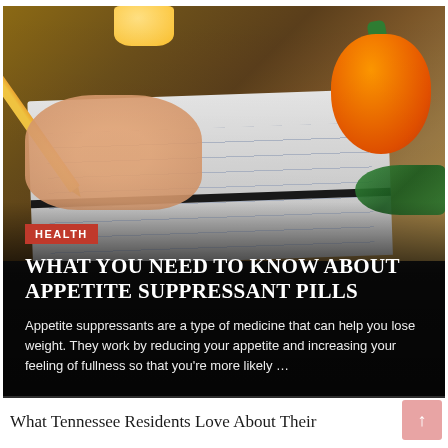[Figure (photo): Photo of a woman's hand with red nail polish holding a yellow pencil writing in a notebook on a wooden table, with an orange bell pepper on the right side]
HEALTH
WHAT YOU NEED TO KNOW ABOUT APPETITE SUPPRESSANT PILLS
Appetite suppressants are a type of medicine that can help you lose weight. They work by reducing your appetite and increasing your feeling of fullness so that you're more likely …
What Tennessee Residents Love About Their